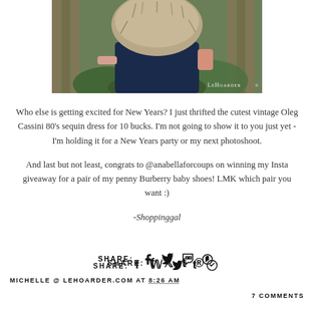[Figure (photo): Photo of a person wearing a large fur hat/collar near ivy and a wooden fence, with 'LeHoarder' watermark in bottom right]
Who else is getting excited for New Years? I just thrifted the cutest vintage Oleg Cassini 80's sequin dress for 10 bucks. I'm not going to show it to you just yet - I'm holding it for a New Years party or my next photoshoot.
And last but not least, congrats to @anabellaforcoups on winning my Insta giveaway for a pair of my penny Burberry baby shoes! LMK which pair you want :)
-Shoppinggal
SHARE: f t p
MICHELLE @ LEHOARDER.COM AT 8:26 AM    7 COMMENTS